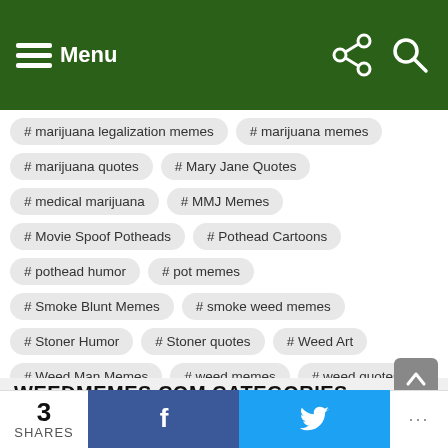Menu
# marijuana legalization memes
# marijuana memes
# marijuana quotes
# Mary Jane Quotes
# medical marijuana
# MMJ Memes
# Movie Spoof Potheads
# Pothead Cartoons
# pothead humor
# pot memes
# Smoke Blunt Memes
# smoke weed memes
# Stoner Humor
# Stoner quotes
# Weed Art
# Weed Man Memes
# weed memes
# weed quotes
WEEDMEMES.COM CATEGORIES
3 SHARES